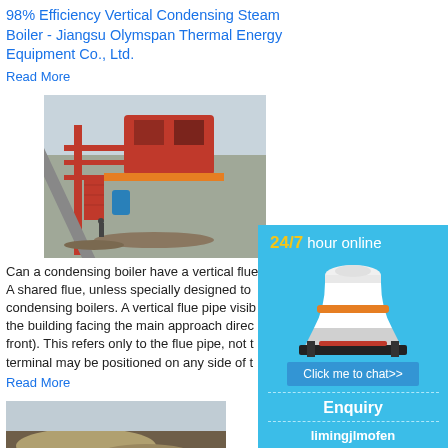98% Efficiency Vertical Condensing Steam Boiler - Jiangsu Olymspan Thermal Energy Equipment Co., Ltd.
Read More
[Figure (photo): Industrial boiler/conveyor equipment on a construction site with red steel frame structures]
Can a condensing boiler have a vertical flue? - A shared flue, unless specially designed to condensing boilers. A vertical flue pipe visi of the building facing the main approach direc front). This refers only to the flue pipe, not t terminal may be positioned on any side of t
Read More
[Figure (photo): Aerial view of industrial site with excavated ground]
[Figure (infographic): Sidebar advertisement: 24/7 hour online, industrial cone crusher machine image, Click me to chat>> button, Enquiry section, limingjlmofen text]